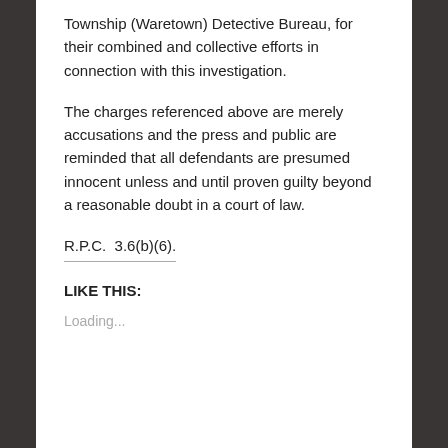Township (Waretown) Detective Bureau, for their combined and collective efforts in connection with this investigation.
The charges referenced above are merely accusations and the press and public are reminded that all defendants are presumed innocent unless and until proven guilty beyond a reasonable doubt in a court of law.
R.P.C.  3.6(b)(6).
LIKE THIS:
Loading...